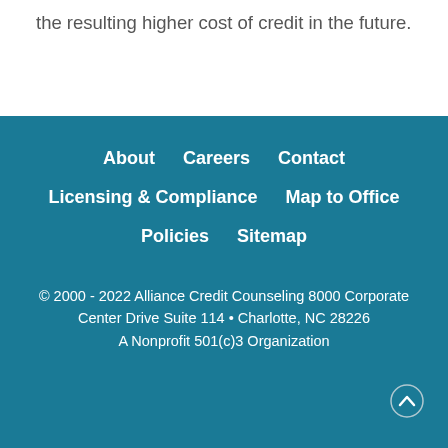the resulting higher cost of credit in the future.
About   Careers   Contact
Licensing & Compliance   Map to Office
Policies   Sitemap
© 2000 - 2022 Alliance Credit Counseling 8000 Corporate Center Drive Suite 114 • Charlotte, NC 28226
A Nonprofit 501(c)3 Organization